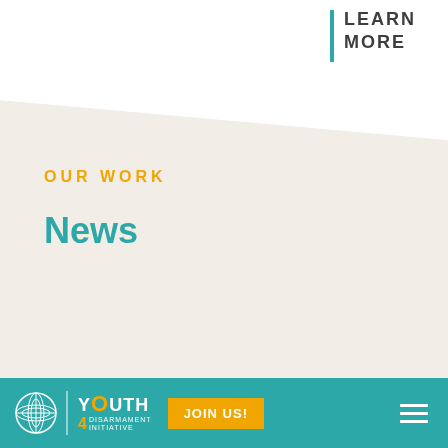LEARN MORE
OUR WORK
News
YOUTH 4 DISARMAMENT INITIATIVE | JOIN US!